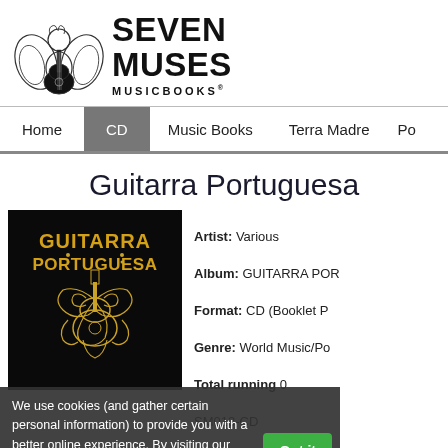[Figure (logo): Seven Muses Musicbooks logo with angel playing guitar illustration and brand name text]
Home | CD | Music Books | Terra Madre | Po
Guitarra Portuguesa
[Figure (illustration): Guitarra Portuguesa album cover — black background with golden ornate guitar illustration and yellow text reading GUITARRA PORTUGUESA]
Artist: Various
Album: GUITARRA POR...
Format: CD (Booklet P...
Genre: World Music/Po...
Total running time: 0...
SM013-CD
Ean: 5606562620288
We use cookies (and gather certain personal information) to provide you with a better online experience. By visiting our site you accept our terms.